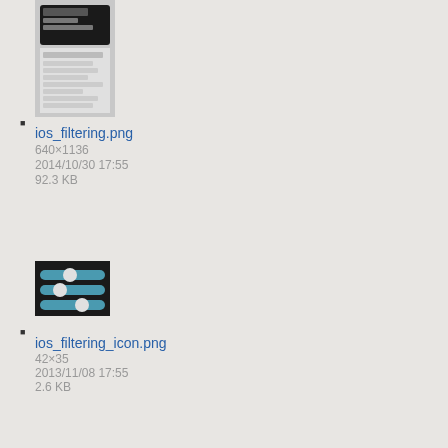[Figure (screenshot): Thumbnail of ios_filtering.png, a mobile app screenshot]
ios_filtering.png
640×1136
2014/10/30 17:55
92.3 KB
[Figure (screenshot): Thumbnail of ios_filtering_icon.png, a dark icon with teal filter sliders]
ios_filtering_icon.png
42×35
2013/11/08 17:55
2.6 KB
[Figure (screenshot): Thumbnail of ios_find_hotspots.png, a mobile app screenshot showing a list]
ios_find_hotspots.png
640×1136
2014/09/24 16:36